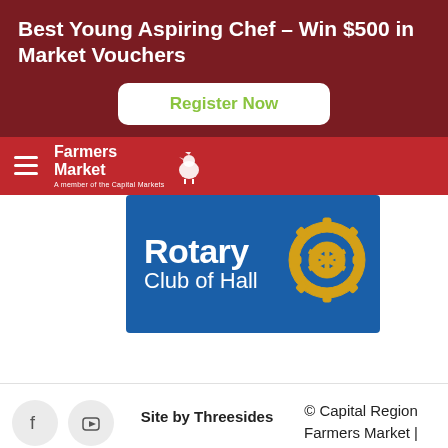Best Young Aspiring Chef – Win $500 in Market Vouchers
Register Now
[Figure (logo): Farmers Market logo with rooster icon on red navigation bar]
[Figure (logo): Rotary Club of Hall logo - blue background with gold gear/wheel icon]
Site by Threesides   © Capital Region Farmers Market | Privacy Policy